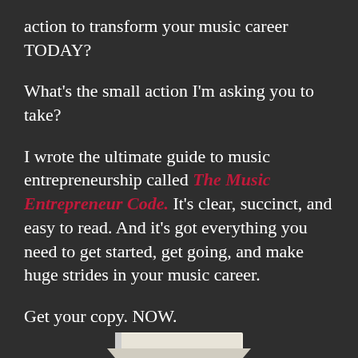action to transform your music career TODAY?
What's the small action I'm asking you to take?
I wrote the ultimate guide to music entrepreneurship called The Music Entrepreneur Code. It's clear, succinct, and easy to read. And it's got everything you need to get started, get going, and make huge strides in your music career.
Get your copy. NOW.
[Figure (photo): Partial view of a book at the bottom of the page]